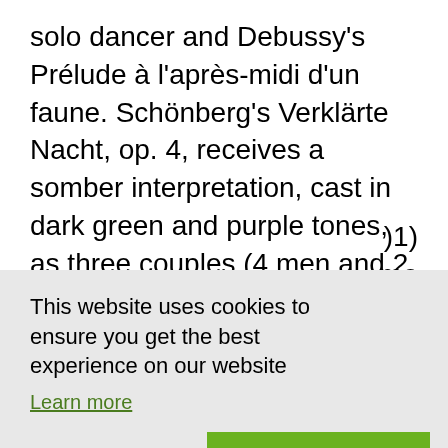solo dancer and Debussy's Prélude à l'après-midi d'un faune. Schönberg's Verklärte Nacht, op. 4, receives a somber interpretation, cast in dark green and purple tones, as three couples (4 men and 2 women) incorporate the events of Richard Dehmel's poem in their gestures. The music of Stamping Ground (Carlos Chavez's »Toccata for Percussion Instruments«) is preceded by a lengthy period when the dancers are accompanied only by the sounds made as they strike
This website uses cookies to ensure you get the best experience on our website
Learn more
Refuse cookies   Allow cookies
me oscow nd the dance teacher who first discovered him all share their